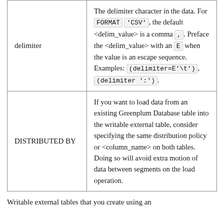| Parameter | Description |
| --- | --- |
| delimiter | The delimiter character in the data. For FORMAT 'CSV', the default <delim_value> is a comma ,. Preface the <delim_value> with an E when the value is an escape sequence. Examples: (delimiter=E'\t'), (delimiter ':'). |
| DISTRIBUTED BY | If you want to load data from an existing Greenplum Database table into the writable external table, consider specifying the same distribution policy or <column_name> on both tables. Doing so will avoid extra motion of data between segments on the load operation. |
Writable external tables that you create using an